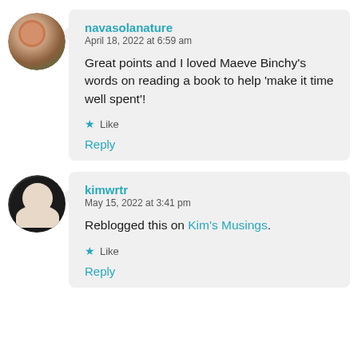[Figure (photo): Circular avatar photo of navasolanature, showing a person outdoors with warm tones]
navasolanature
April 18, 2022 at 6:59 am

Great points and I loved Maeve Binchy's words on reading a book to help 'make it time well spent'!

★ Like

Reply
[Figure (photo): Circular avatar photo of kimwrtr, showing a person with dark hair against white background with dark border]
kimwrtr
May 15, 2022 at 3:41 pm

Reblogged this on Kim's Musings.

★ Like

Reply